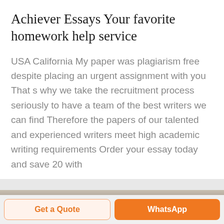Achiever Essays Your favorite homework help service
USA California My paper was plagiarism free despite placing an urgent assignment with you That s why we take the recruitment process seriously to have a team of the best writers we can find Therefore the papers of our talented and experienced writers meet high academic writing requirements Order your essay today and save 20 with
[Figure (photo): Partial view of a photo strip at the bottom of the content area]
Get a Quote
WhatsApp